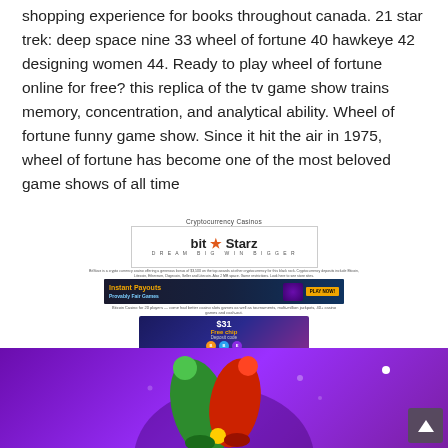shopping experience for books throughout canada. 21 star trek: deep space nine 33 wheel of fortune 40 hawkeye 42 designing women 44. Ready to play wheel of fortune online for free? this replica of the tv game show trains memory, concentration, and analytical ability. Wheel of fortune funny game show. Since it hit the air in 1975, wheel of fortune has become one of the most beloved game shows of all time
[Figure (screenshot): Cryptocurrency Casinos advertisement section featuring BitStarz casino logo, instant payouts banner, SlotoCash $31 free chip offer, Cloudbet 100% deposit bonus, and Bitcoin Casino welcome package banners]
[Figure (photo): Bottom image showing a purple background with colorful jester hat character, part of a casino game screenshot]